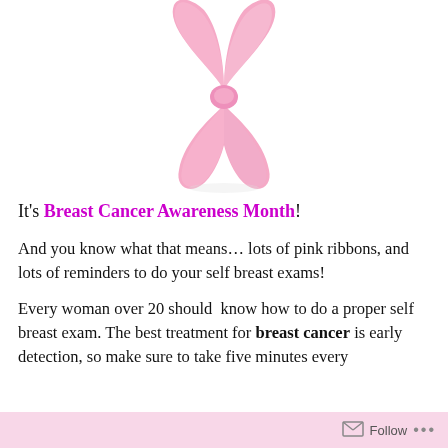[Figure (illustration): Pink breast cancer awareness ribbon centered at top of page]
It's Breast Cancer Awareness Month!
And you know what that means… lots of pink ribbons, and lots of reminders to do your self breast exams!
Every woman over 20 should  know how to do a proper self breast exam. The best treatment for breast cancer is early detection, so make sure to take five minutes every
Follow ...